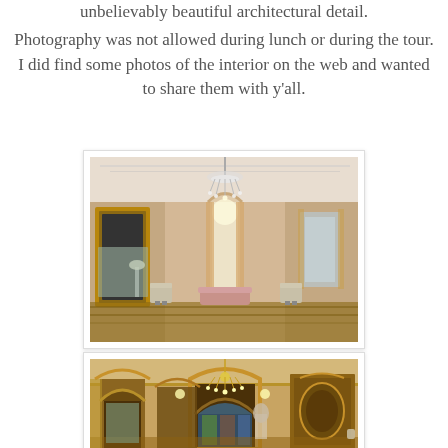unbelievably beautiful architectural detail.
Photography was not allowed during lunch or during the tour. I did find some photos of the interior on the web and wanted to share them with y'all.
[Figure (photo): Interior of a grand salon with ornate chandelier, gilded mirrors, arched windows with drapes, pink sofa, and antique chairs on patterned floor]
[Figure (photo): Ornate mansion hallway with arched doorways, stained glass windows, chandelier, gilded woodwork panels, and decorative statuary]